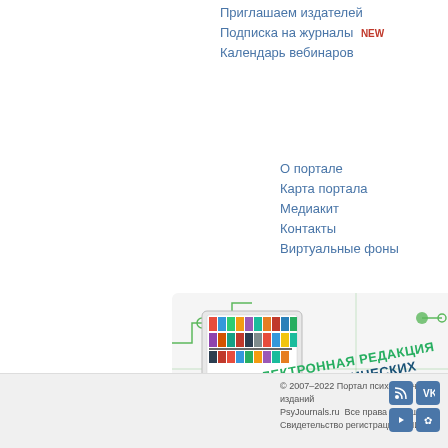Приглашаем издателей
Подписка на журналы NEW
Календарь вебинаров
О портале
Карта портала
Медиакит
Контакты
Виртуальные фоны
[Figure (illustration): Banner image: electronic editorial office of psychological journals — a tablet showing journal covers with the text ЭЛЕКТРОННАЯ РЕДАКЦИЯ ПСИХОЛОГИЧЕСКИХ ЖУРНАЛОВ on a white background with green circuit-board decorative elements.]
© 2007–2022 Портал психологических изданий PsyJournals.ru  Все права защищены
Свидетельство регистрации СМИ